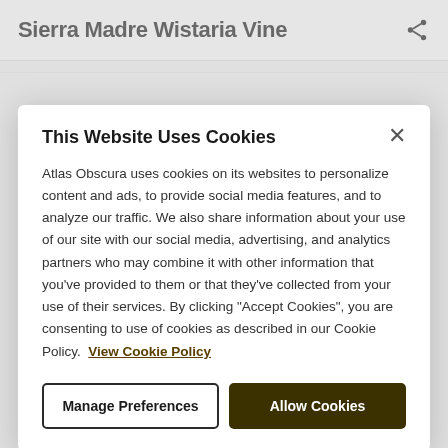Sierra Madre Wistaria Vine
This Website Uses Cookies
Atlas Obscura uses cookies on its websites to personalize content and ads, to provide social media features, and to analyze our traffic. We also share information about your use of our site with our social media, advertising, and analytics partners who may combine it with other information that you've provided to them or that they've collected from your use of their services. By clicking "Accept Cookies", you are consenting to use of cookies as described in our Cookie Policy. View Cookie Policy
Manage Preferences
Allow Cookies